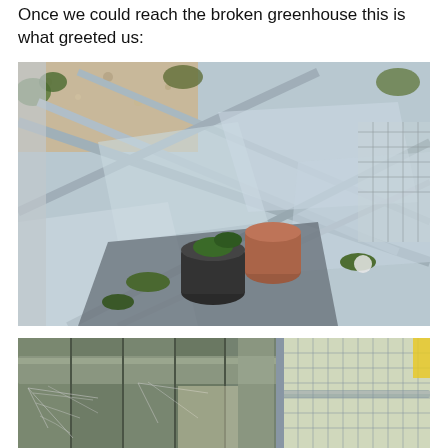Once we could reach the broken greenhouse this is what greeted us:
[Figure (photo): Aerial/close-up view of a collapsed greenhouse showing bent metal frames, broken glass panels, scattered terracotta and black plant pots, fallen plants, gravel, and debris. The structure is severely damaged with panels and frames lying at angles.]
[Figure (photo): Close-up view of a wooden fence with cobwebs visible, and metal wire/mesh fencing to the right, with bright light in the background.]